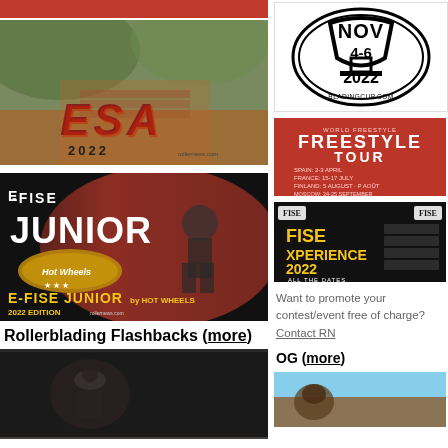[Figure (photo): Top red strip / partial image top left]
[Figure (photo): ESA 2022 rollerblading event photo with large ESA text and 2022 year label, rollernews.com]
[Figure (photo): E-FISE Junior by Hot Wheels 2022 Edition promotional image with person skating]
Rollerblading Flashbacks (more)
[Figure (photo): Dark video thumbnail of person in hat for Rollerblading Flashbacks section]
[Figure (photo): NOV 4-6 2022 bladingcup.com event badge/logo]
[Figure (photo): Red freestyle tour promotional banner with event dates]
[Figure (photo): FISE XPERIENCE 2022 ALL THE DATES promotional image]
Want to promote your contest/event free of charge? Contact RN
OG (more)
[Figure (photo): Bottom right thumbnail image]